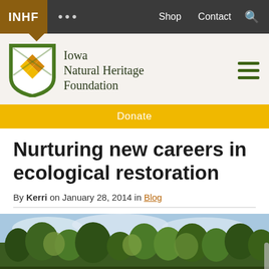INHF  •••  Shop  Contact  🔍
[Figure (logo): Iowa Natural Heritage Foundation logo with acorn shield and text]
Donate
Nurturing new careers in ecological restoration
By Kerri on January 28, 2014 in Blog
[Figure (photo): Outdoor nature photo showing trees and sky, likely an Iowa natural landscape]